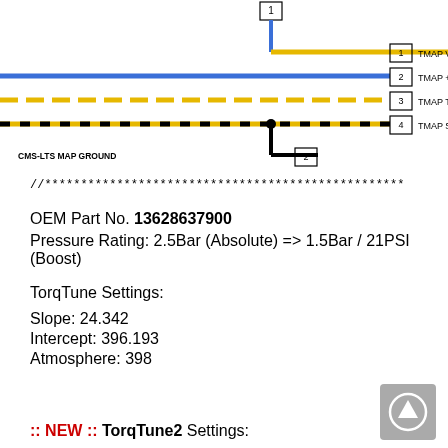[Figure (schematic): Wiring diagram showing TMAP sensor connector with 4 wires: 1-TMAP Voltage Output (yellow/gold), 2-TMAP +5V Power (blue), 3-TMAP Temperature (yellow dashed), 4-TMAP Signal Ground (yellow/black dashed). CMS-LTS MAP GROUND pin 2 connected via black wire.]
//**************************************************
OEM Part No. 13628637900
Pressure Rating: 2.5Bar (Absolute) => 1.5Bar / 21PSI (Boost)
TorqTune Settings:
Slope: 24.342
Intercept: 396.193
Atmosphere: 398
:: NEW :: TorqTune2 Settings: